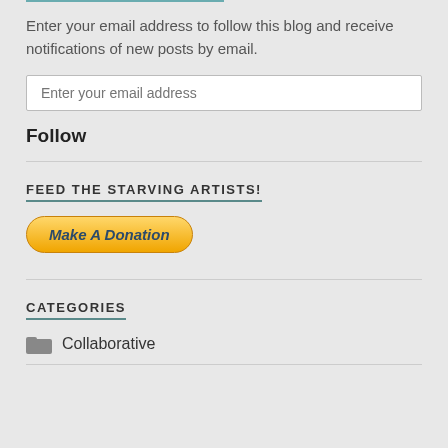Enter your email address to follow this blog and receive notifications of new posts by email.
[Figure (other): Email input field with placeholder text 'Enter your email address']
Follow
FEED THE STARVING ARTISTS!
[Figure (other): PayPal donate button labeled 'Make A Donation']
CATEGORIES
Collaborative